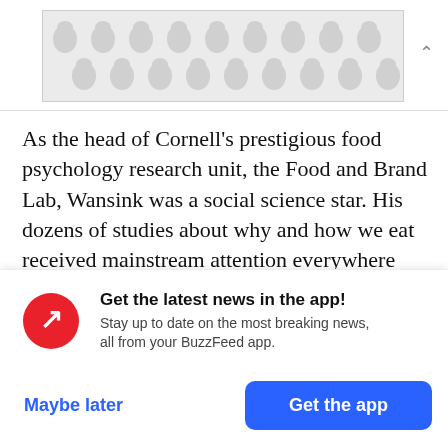[Figure (other): Advertisement banner with polka dot / teardrop pattern in light gray on gray background]
As the head of Cornell's prestigious food psychology research unit, the Food and Brand Lab, Wansink was a social science star. His dozens of studies about why and how we eat received mainstream attention everywhere from O, the Oprah Magazine to the Today show to the New York Times. At the heart of his work was an accessible, inspiring message: Weight loss is possible for
Get the latest news in the app! Stay up to date on the most breaking news, all from your BuzzFeed app.
Maybe later
Get the app